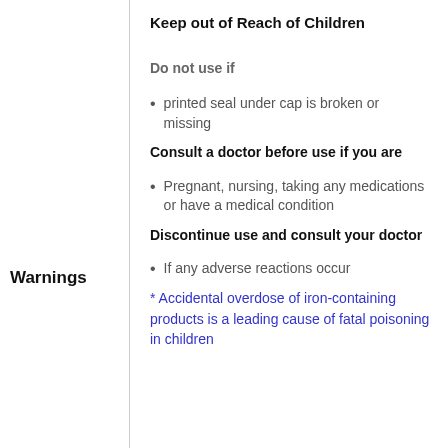Keep out of Reach of Children
Do not use if
printed seal under cap is broken or missing
Consult a doctor before use if you are
Pregnant, nursing, taking any medications or have a medical condition
Warnings
Discontinue use and consult your doctor
If any adverse reactions occur
* Accidental overdose of iron-containing products is a leading cause of fatal poisoning in children